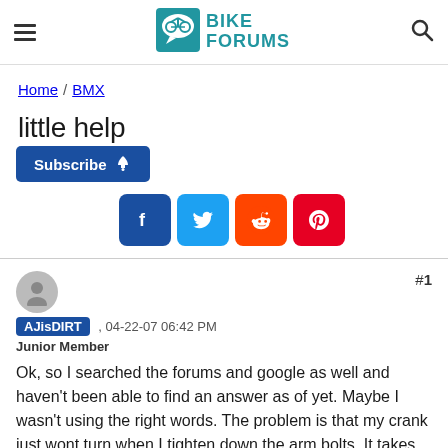Bike Forums
Home / BMX
little help
[Figure (screenshot): Subscribe button with bell icon and social share buttons for Facebook, Twitter, Reddit, Pinterest]
AJisDIRT , 04-22-07 06:42 PM
Junior Member
Ok, so I searched the forums and google as well and haven't been able to find an answer as of yet. Maybe I wasn't using the right words. The problem is that my crank just wont turn when I tighten down the arm bolts. It takes